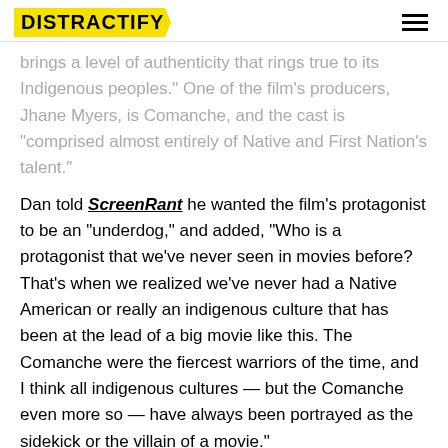DISTRACTIFY
brings a level of authenticity that rings true to its Indigenous peoples." One of the film's producers, Jhane Myers, is Comanche, and the cast is "comprised almost entirely of Native and First Nation's talent."
Dan told ScreenRant he wanted the film's protagonist to be an "underdog," and added, "Who is a protagonist that we've never seen in movies before? That's when we realized we've never had a Native American or really an indigenous culture that has been at the lead of a big movie like this. The Comanche were the fiercest warriors of the time, and I think all indigenous cultures — but the Comanche even more so — have always been portrayed as the sidekick or the villain of a movie."